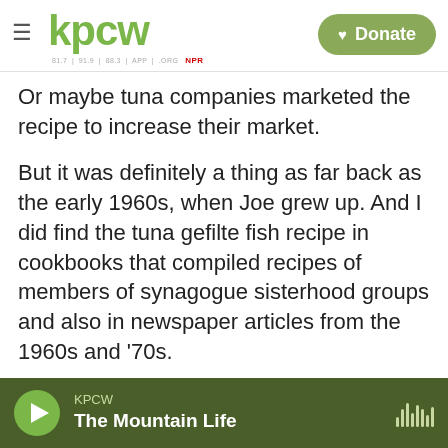KPCW — Donate
Or maybe tuna companies marketed the recipe to increase their market.
But it was definitely a thing as far back as the early 1960s, when Joe grew up. And I did find the tuna gefilte fish recipe in cookbooks that compiled recipes of members of synagogue sisterhood groups and also in newspaper articles from the 1960s and '70s.
Jeffrey Yoskowitz, an authority on gefilte fish who has written the book The Gefilte Manifesto and runs an artisanal Jewish food business in New York called the Gefilteria, says, "I think it is hilarious and
KPCW — The Mountain Life